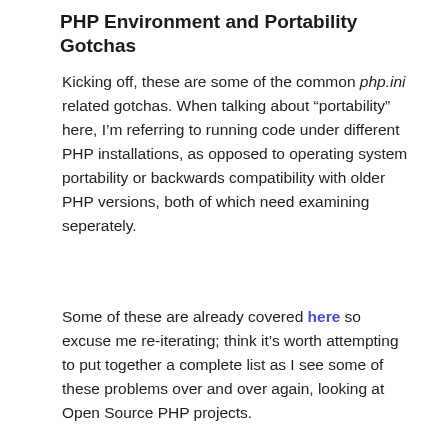PHP Environment and Portability Gotchas
Kicking off, these are some of the common php.ini related gotchas. When talking about “portability” here, I’m referring to running code under different PHP installations, as opposed to operating system portability or backwards compatibility with older PHP versions, both of which need examining seperately.
Some of these are already covered here so excuse me re-iterating; think it’s worth attempting to put together a complete list as I see some of these problems over and over again, looking at Open Source PHP projects.